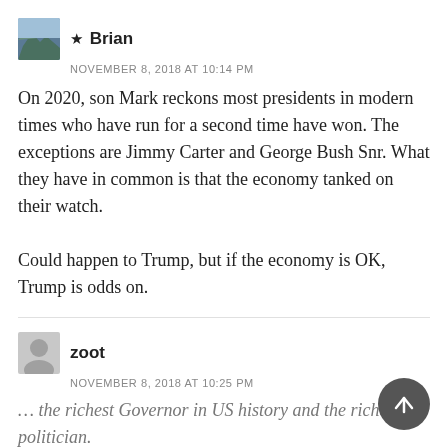[Figure (other): User avatar thumbnail for Brian (mountain/landscape image)]
★ Brian
NOVEMBER 8, 2018 AT 10:14 PM
On 2020, son Mark reckons most presidents in modern times who have run for a second time have won. The exceptions are Jimmy Carter and George Bush Snr. What they have in common is that the economy tanked on their watch.

Could happen to Trump, but if the economy is OK, Trump is odds on.
[Figure (other): User avatar thumbnail for zoot (figure/person image)]
zoot
NOVEMBER 8, 2018 AT 10:25 PM
… the richest Governor in US history and the richest US politician.
A Democrat.
You seem to be saying Democrats shouldn't be rich.